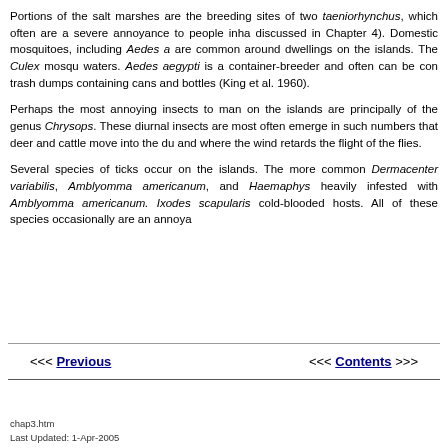Portions of the salt marshes are the breeding sites of two taeniorhynchus, which often are a severe annoyance to people inha discussed in Chapter 4). Domestic mosquitoes, including Aedes a are common around dwellings on the islands. The Culex mosqu waters. Aedes aegypti is a container-breeder and often can be con trash dumps containing cans and bottles (King et al. 1960).
Perhaps the most annoying insects to man on the islands are principally of the genus Chrysops. These diurnal insects are most often emerge in such numbers that deer and cattle move into the du and where the wind retards the flight of the flies.
Several species of ticks occur on the islands. The more common Dermacenter variabilis, Amblyomma americanum, and Haemaphysalis heavily infested with Amblyomma americanum. Ixodes scapularis cold-blooded hosts. All of these species occasionally are an annoya
<<< Previous   <<< Contents >>>
chap3.htm
Last Updated: 1-Apr-2005